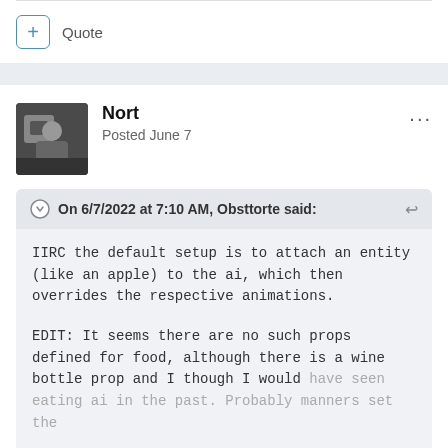+ Quote
Nort
Posted June 7
On 6/7/2022 at 7:10 AM, Obsttorte said:
IIRC the default setup is to attach an entity (like an apple) to the ai, which then overrides the respective animations.

EDIT: It seems there are no such props defined for food, although there is a wine bottle prop and I though I would have seen eating ai in the past. Probably manners set the
Expand